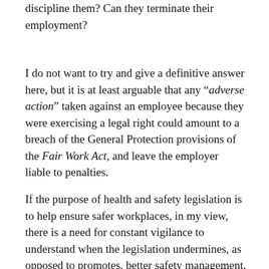discipline them? Can they terminate their employment?
I do not want to try and give a definitive answer here, but it is at least arguable that any "adverse action" taken against an employee because they were exercising a legal right could amount to a breach of the General Protection provisions of the Fair Work Act, and leave the employer liable to penalties.
If the purpose of health and safety legislation is to help ensure safer workplaces, in my view, there is a need for constant vigilance to understand when the legislation undermines, as opposed to promotes, better safety management. If the legal risks have become so acute that